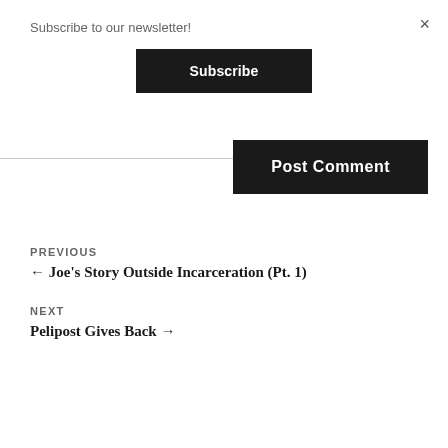×
Subscribe to our newsletter!
Subscribe
Post Comment
PREVIOUS
← Joe's Story Outside Incarceration (Pt. 1)
NEXT
Pelipost Gives Back →